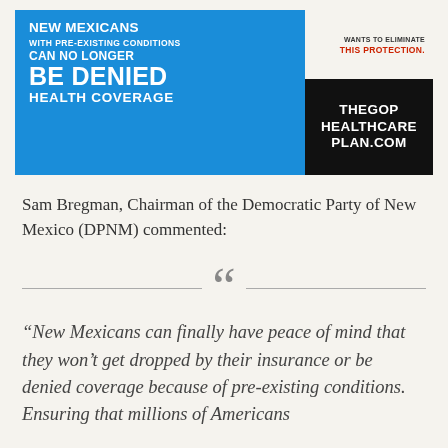[Figure (infographic): Political infographic banner. Left side blue with white text: 'NEW MEXICANS WITH PRE-EXISTING CONDITIONS CAN NO LONGER BE DENIED HEALTH COVERAGE'. Right side split: top light with red text 'THIS PROTECTION.' and bottom black with white text 'THEGOP HEALTHCARE PLAN.COM']
Sam Bregman, Chairman of the Democratic Party of New Mexico (DPNM) commented:
“New Mexicans can finally have peace of mind that they won’t get dropped by their insurance or be denied coverage because of pre-existing conditions. Ensuring that millions of Americans